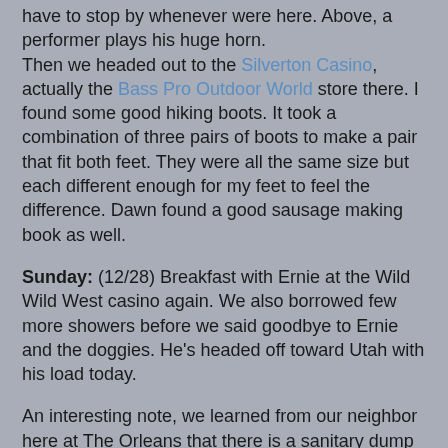have to stop by whenever were here. Above, a performer plays his huge horn.
Then we headed out to the Silverton Casino, actually the Bass Pro Outdoor World store there. I found some good hiking boots. It took a combination of three pairs of boots to make a pair that fit both feet. They were all the same size but each different enough for my feet to feel the difference. Dawn found a good sausage making book as well.
Sunday: (12/28) Breakfast with Ernie at the Wild Wild West casino again. We also borrowed few more showers before we said goodbye to Ernie and the doggies. He's headed off toward Utah with his load today.
An interesting note, we learned from our neighbor here at The Orleans that there is a sanitary dump at the Wild Wild West. Hadn't thought of that. It costs $7 but may be worth a visit if we're ever in need.
We headed out to the outlet mall South of town at Spring Valley Road and Las Vegas Blvd. Lou and Dawn wanted to visit a particular shop where they've found clothes they like